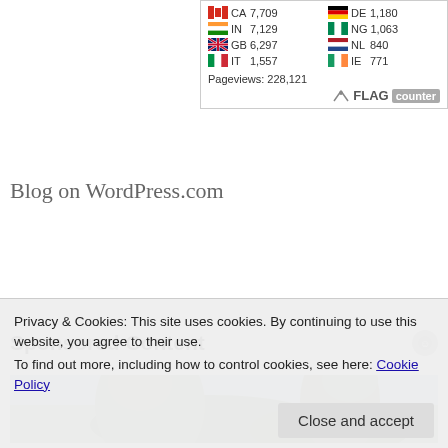[Figure (screenshot): Flag Counter widget showing country visit counts: CA 7,709 | DE 1,180 | IN 7,129 | NG 1,063 | GB 6,297 | NL 840 | IT 1,557 | IE 771 | Pageviews: 228,121]
Blog on WordPress.com
Sponsored Content
[Figure (photo): Two people facing each other, appears to be a movie or TV scene with greenish tones, outdoor background]
Privacy & Cookies: This site uses cookies. By continuing to use this website, you agree to their use.
To find out more, including how to control cookies, see here: Cookie Policy